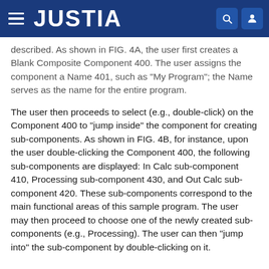JUSTIA
described. As shown in FIG. 4A, the user first creates a Blank Composite Component 400. The user assigns the component a Name 401, such as "My Program"; the Name serves as the name for the entire program.
The user then proceeds to select (e.g., double-click) on the Component 400 to "jump inside" the component for creating sub-components. As shown in FIG. 4B, for instance, upon the user double-clicking the Component 400, the following sub-components are displayed: In Calc sub-component 410, Processing sub-component 430, and Out Calc sub-component 420. These sub-components correspond to the main functional areas of this sample program. The user may then proceed to choose one of the newly created sub-components (e.g., Processing). The user can then "jump into" the sub-component by double-clicking on it.